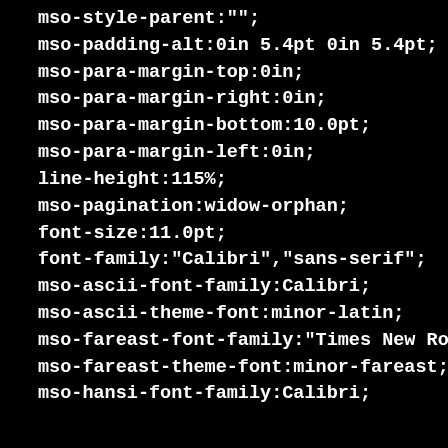mso-style-parent:"";
mso-padding-alt:0in 5.4pt 0in 5.4pt;
mso-para-margin-top:0in;
mso-para-margin-right:0in;
mso-para-margin-bottom:10.0pt;
mso-para-margin-left:0in;
line-height:115%;
mso-pagination:widow-orphan;
font-size:11.0pt;
font-family:"Calibri","sans-serif";
mso-ascii-font-family:Calibri;
mso-ascii-theme-font:minor-latin;
mso-fareast-font-family:"Times New Roman";
mso-fareast-theme-font:minor-fareast;
mso-hansi-font-family:Calibri;